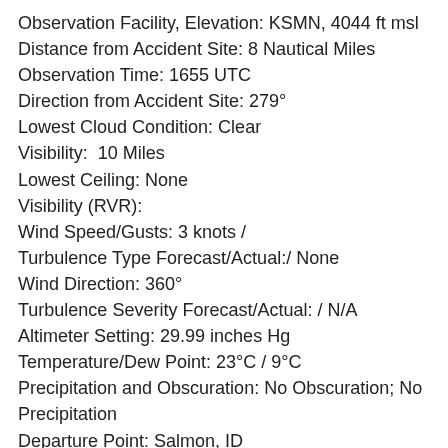Observation Facility, Elevation: KSMN, 4044 ft msl
Distance from Accident Site: 8 Nautical Miles
Observation Time: 1655 UTC
Direction from Accident Site: 279°
Lowest Cloud Condition: Clear
Visibility:  10 Miles
Lowest Ceiling: None
Visibility (RVR):
Wind Speed/Gusts: 3 knots /
Turbulence Type Forecast/Actual:/ None
Wind Direction: 360°
Turbulence Severity Forecast/Actual: / N/A
Altimeter Setting: 29.99 inches Hg
Temperature/Dew Point: 23°C / 9°C
Precipitation and Obscuration: No Obscuration; No Precipitation
Departure Point: Salmon, ID
Type of Flight Plan Filed:
Destination: Salmon, ID
Type of Clearance: None
Departure Time:  MDT
Type of Airspace: